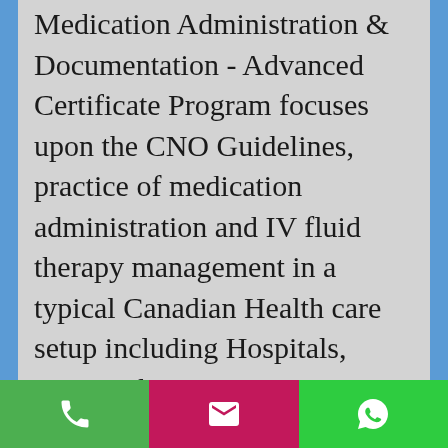Medication Administration & Documentation - Advanced Certificate Program focuses upon the CNO Guidelines, practice of medication administration and IV fluid therapy management in a typical Canadian Health care setup including Hospitals, Nursing homes, retirement homes, old-age homes and acute & chronic healthcare.
The theoretical component of the program is designed to facilitate